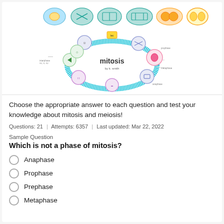[Figure (illustration): Mitosis concept map diagram showing stages of mitosis in cells arranged in a circular cycle, with cell phase images at the top and a circular mind-map labeled 'mitosis' in the center.]
Choose the appropriate answer to each question and test your knowledge about mitosis and meiosis!
Questions: 21  |  Attempts: 6357  |  Last updated: Mar 22, 2022
Sample Question
Which is not a phase of mitosis?
Anaphase
Prophase
Prephase
Metaphase